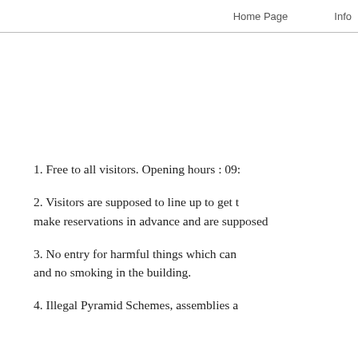Home Page    Info
1. Free to all visitors. Opening hours : 09:
2. Visitors are supposed to line up to get t make reservations in advance and are supposed
3. No entry for harmful things which can and no smoking in the building.
4. Illegal Pyramid Schemes, assemblies a